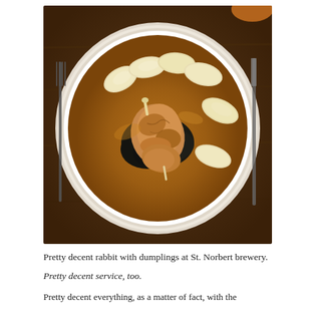[Figure (photo): A white plate containing roasted rabbit pieces with dark braised greens, surrounded by oval potato dumplings in a rich brown gravy/sauce. The plate is set on a dark wooden table with a fork visible on the left and a knife on the right.]
Pretty decent rabbit with dumplings at St. Norbert brewery.
Pretty decent service, too.
Pretty decent everything, as a matter of fact, with the